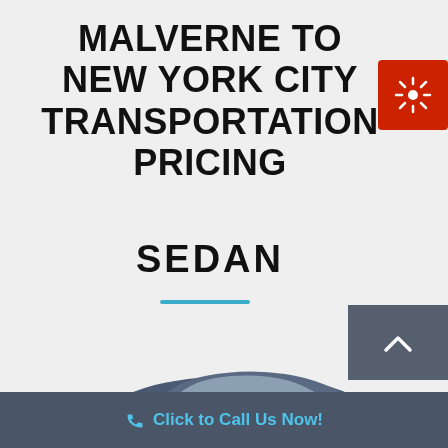MALVERNE TO NEW YORK CITY TRANSPORTATION PRICING
[Figure (logo): Red badge with sun/burst icon in top right corner]
SEDAN
[Figure (photo): Dark blue/grey luxury sedan (Chrysler 300) photographed from a front-side angle on a light background]
[Figure (other): Gray square button with upward chevron arrow]
Click to Call Us Now!